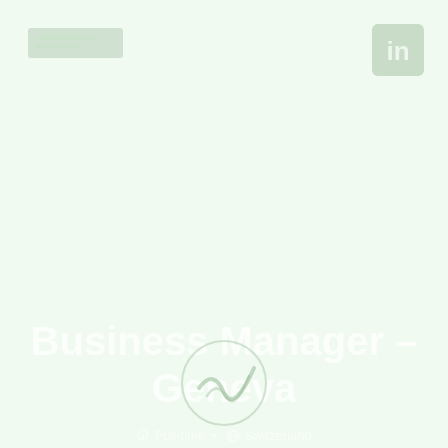[Figure (logo): Top-left logo bar with two horizontal lines on a light green background]
[Figure (logo): Top-right LinkedIn or similar social media icon in white on green background]
Business Manager – Geneva
Location icon  •  Full-time  •  Globe icon  •  Switzerland
[Figure (logo): Bottom center icon/logo, a stylized leaf or checkmark shape in light green]